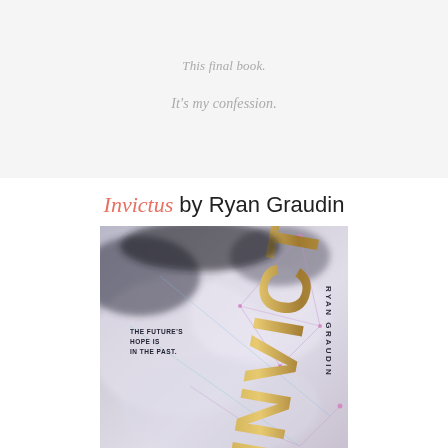This final book.
It's my confession.
Invictus by Ryan Graudin
[Figure (photo): Book cover of Invictus by Ryan Graudin. The cover features an artistic design with a distressed, smoky background in muted purples, grays and whites with constellation-like geometric line patterns. The title INVICTUS is displayed diagonally in large metallic gold/bronze letters. The author name RYAN GRAUDIN appears along the right side. Text reads 'THE FUTURE'S HOPE IS IN THE PAST.']